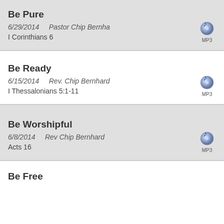Be Pure
6/29/2014    Pastor Chip Bernha
I Corinthians 6
Be Ready
6/15/2014    Rev. Chip Bernhard
I Thessalonians 5:1-11
Be Worshipful
6/8/2014    Rev Chip Bernhard
Acts 16
Be Free